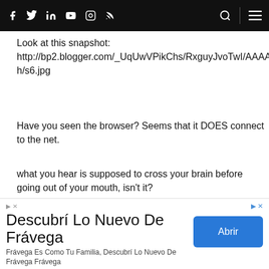Social media/blog navigation bar with icons: facebook, twitter, linkedin, youtube, instagram, rss, search, menu
Look at this snapshot:
http://bp2.blogger.com/_UqUwVPikChs/RxguyJvoTwI/AAAAAAAAA4o/rkllOC4Nvh4/s1600-h/s6.jpg
Have you seen the browser? Seems that it DOES connect to the net.
what you hear is supposed to cross your brain before going out of your mouth, isn't it?
[Figure (other): Reply button with arrow icon]
[Figure (other): Collapse/expand chevron area]
[Figure (other): Advertisement banner: Descubrí Lo Nuevo De Frávega. Frávega Es Como Tu Familia, Descubrí Lo Nuevo De Frávega Frávega. Abrir button.]